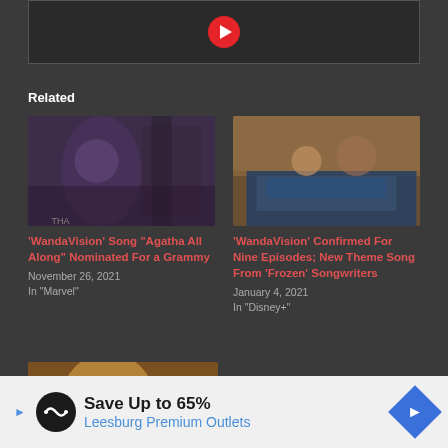[Figure (screenshot): Video thumbnail with red play button in center on dark background]
Related
[Figure (photo): Behind-the-scenes photo of a person looking up near camera equipment on dark set background]
'WandaVision' Song "Agatha All Along" Nominated For a Grammy
November 26, 2021
In "Marvel"
[Figure (photo): Scene from WandaVision showing characters on a couch in a living room setting]
'WandaVision' Confirmed For Nine Episodes; New Theme Song From 'Frozen' Songwriters
January 4, 2021
In "Disney+"
[Figure (photo): Partial photo showing a person with blonde hair, partially cut off at bottom of page]
Save Up to 65%
Leesburg Premium Outlets